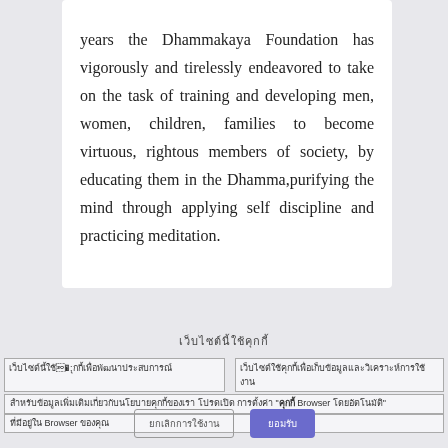years the Dhammakaya Foundation has vigorously and tirelessly endeavored to take on the task of training and developing men, women, children, families to become virtuous, rightous members of society, by educating them in the Dhamma,purifying the mind through applying self discipline and practicing meditation.
[Thai text - navigation/cookie notice with Browser reference and accept/cancel buttons]